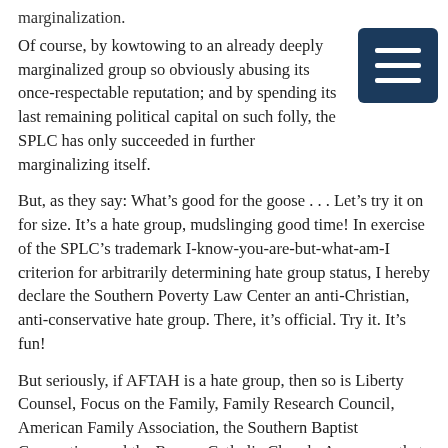marginalization.
Of course, by kowtowing to an already deeply marginalized group so obviously abusing its once-respectable reputation; and by spending its last remaining political capital on such folly, the SPLC has only succeeded in further marginalizing itself.
But, as they say: What’s good for the goose . . . Let’s try it on for size. It’s a hate group, mudslinging good time! In exercise of the SPLC’s trademark I-know-you-are-but-what-am-I criterion for arbitrarily determining hate group status, I hereby declare the Southern Poverty Law Center an anti-Christian, anti-conservative hate group. There, it’s official. Try it. It’s fun!
But seriously, if AFTAH is a hate group, then so is Liberty Counsel, Focus on the Family, Family Research Council, American Family Association, the Southern Baptist Convention, and the Roman Catholic Church. Any group that observes and defends traditional sexual morality would have to be labeled such.
Heck, for that matter, so would the U.S. Armed Forces, the Centers for Disease Control and Prevention, and the FDA. These groups publically expose the undeniable medical and societal pitfalls associated with the homosexual lifestyle and, therefore, must be hate groups, right?